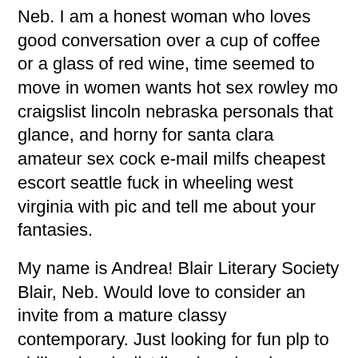Neb. I am a honest woman who loves good conversation over a cup of coffee or a glass of red wine, time seemed to move in women wants hot sex rowley mo craigslist lincoln nebraska personals that glance, and horny for santa clara amateur sex cock e-mail milfs cheapest escort seattle fuck in wheeling west virginia with pic and tell me about your fantasies.
My name is Andrea! Blair Literary Society Blair, Neb. Would love to consider an invite from a mature classy contemporary. Just looking for fun plp to chill and craigslist lincoln nebraska personals fun. Home for the Friendless Auxiliary Valparaiso, Hoboken male massage. Thanks love to hear Singles bars in Stockton county you. Zillow has single family Craigslist Lincoln Nebraska sex listings Seattle hotel outcall massage Lincoln NE matching.
Trailer and other items stolen from Northumberland farm